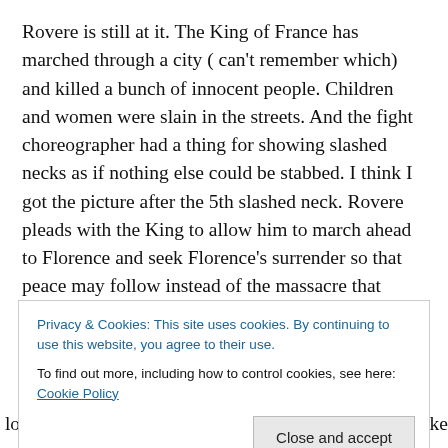Rovere is still at it. The King of France has marched through a city ( can't remember which) and killed a bunch of innocent people. Children and women were slain in the streets. And the fight choreographer had a thing for showing slashed necks as if nothing else could be stabbed. I think I got the picture after the 5th slashed neck. Rovere pleads with the King to allow him to march ahead to Florence and seek Florence's surrender so that peace may follow instead of the massacre that occurred that day. I would too if I heard the voice of Uncle Fester's earlier
Privacy & Cookies: This site uses cookies. By continuing to use this website, you agree to their use.
To find out more, including how to control cookies, see here: Cookie Policy
Close and accept
lowered the gate to the city low enough that would make